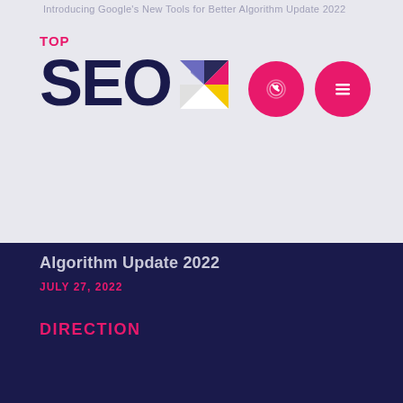Introducing Google's New Tools for Better Algorithm Update 2022
[Figure (logo): Top SEO logo with colorful geometric icon]
[Figure (infographic): Two pink circle buttons: phone/call icon and hamburger menu icon]
Algorithm Update 2022
JULY 27, 2022
DIRECTION